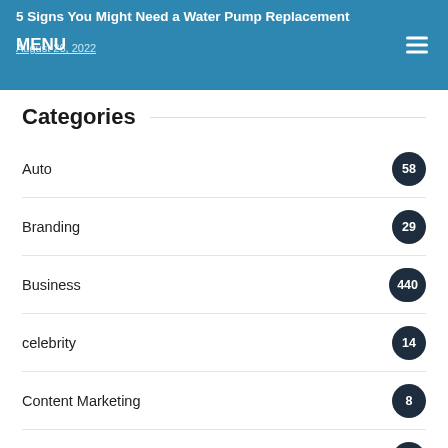5 Signs You Might Need a Water Pump Replacement
August 26, 2022
MENU
Categories
Auto 58
Branding 29
Business 440
celebrity 14
Content Marketing 8
Digital Marketing 49
Ecommerce 13